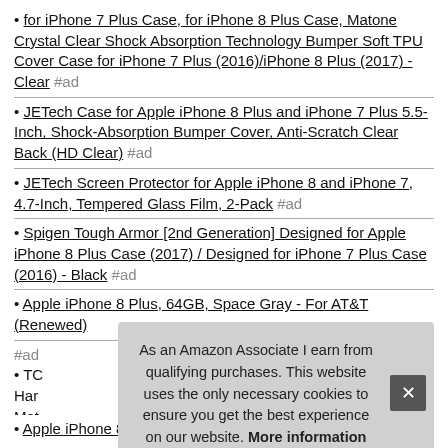• for iPhone 7 Plus Case, for iPhone 8 Plus Case, Matone Crystal Clear Shock Absorption Technology Bumper Soft TPU Cover Case for iPhone 7 Plus (2016)/iPhone 8 Plus (2017) - Clear #ad
• JETech Case for Apple iPhone 8 Plus and iPhone 7 Plus 5.5-Inch, Shock-Absorption Bumper Cover, Anti-Scratch Clear Back (HD Clear) #ad
• JETech Screen Protector for Apple iPhone 8 and iPhone 7, 4.7-Inch, Tempered Glass Film, 2-Pack #ad
• Spigen Tough Armor [2nd Generation] Designed for Apple iPhone 8 Plus Case (2017) / Designed for iPhone 7 Plus Case (2016) - Black #ad
• Apple iPhone 8 Plus, 64GB, Space Gray - For AT&T (Renewed) #ad
• TC... Har... Mat... Plus...
As an Amazon Associate I earn from qualifying purchases. This website uses the only necessary cookies to ensure you get the best experience on our website. More information
• Apple iPhone 8 Plus, 64GB, Gold - For AT&T (Renewed) #ad